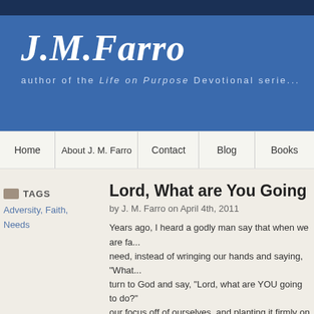[Figure (screenshot): Website header banner with dark navy top bar and blue background showing J.M.Farro author site logo and subtitle]
J.M.Farro author of the Life on Purpose Devotional serie...
Home | About J. M. Farro | Contact | Blog | Books
TAGS
Adversity, Faith, Needs
Lord, What are You Going to D...
by J. M. Farro on April 4th, 2011
Years ago, I heard a godly man say that when we are fa... need, instead of wringing our hands and saying, "What... turn to God and say, "Lord, what are YOU going to do?"... our focus off of ourselves, and planting it firmly on God...